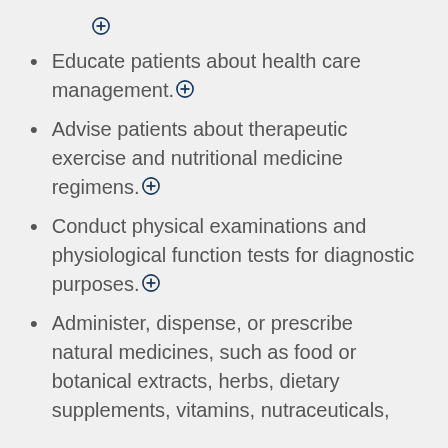➕
Educate patients about health care management.➕
Advise patients about therapeutic exercise and nutritional medicine regimens.➕
Conduct physical examinations and physiological function tests for diagnostic purposes.➕
Administer, dispense, or prescribe natural medicines, such as food or botanical extracts, herbs, dietary supplements, vitamins, nutraceuticals,